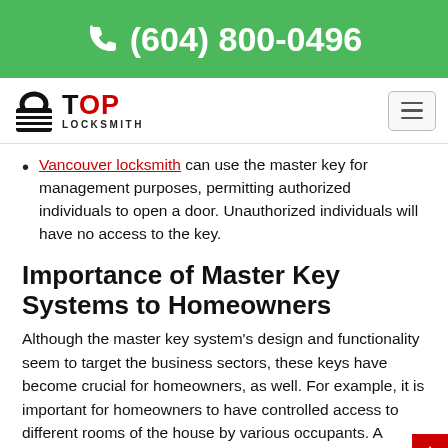(604) 800-0496
[Figure (logo): Top Locksmith logo with padlock icon, 'TOP' in black and red, 'LOCKSMITH' below]
Vancouver locksmith can use the master key for management purposes, permitting authorized individuals to open a door. Unauthorized individuals will have no access to the key.
Importance of Master Key Systems to Homeowners
Although the master key system's design and functionality seem to target the business sectors, these keys have become crucial for homeowners, as well. For example, it is important for homeowners to have controlled access to different rooms of the house by various occupants. A master key system for apartment